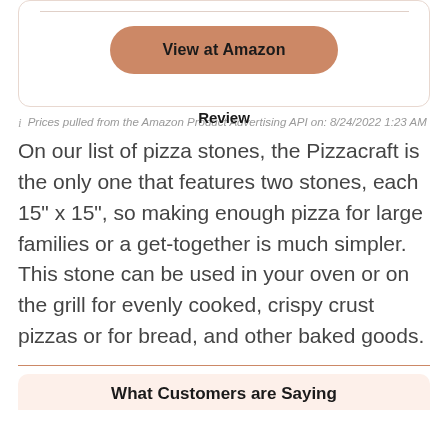[Figure (other): Amazon button with rounded rectangle shape in terracotta/salmon color reading 'View at Amazon' in bold text]
Prices pulled from the Amazon Product Advertising API on: 8/24/2022 1:23 AM
Review
On our list of pizza stones, the Pizzacraft is the only one that features two stones, each 15" x 15", so making enough pizza for large families or a get-together is much simpler. This stone can be used in your oven or on the grill for evenly cooked, crispy crust pizzas or for bread, and other baked goods.
What Customers are Saying